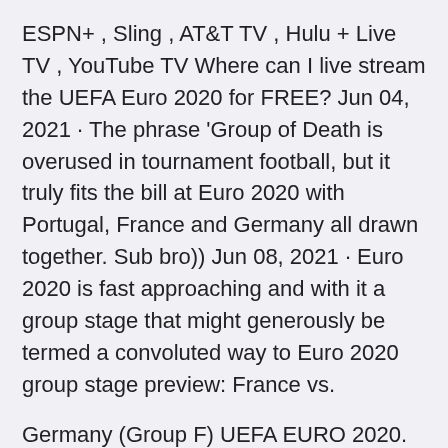ESPN+ , Sling , AT&T TV , Hulu + Live TV , YouTube TV Where can I live stream the UEFA Euro 2020 for FREE? Jun 04, 2021 · The phrase 'Group of Death is overused in tournament football, but it truly fits the bill at Euro 2020 with Portugal, France and Germany all drawn together. Sub bro)) Jun 08, 2021 · Euro 2020 is fast approaching and with it a group stage that might generously be termed a convoluted way to Euro 2020 group stage preview: France vs.
Germany (Group F) UEFA EURO 2020. ESPN+ • UEFA European Championship. Euro 2020 group stage preview: France vs. Germany, all-British clash and the best games to watch The pick of the 36 group stage games Reigning world champions France will open their Euro 2020 campaign against Germany at the Allianz